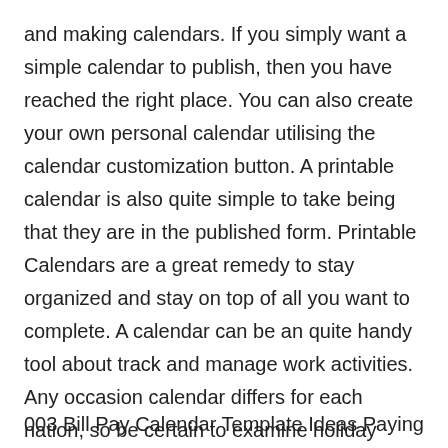and making calendars. If you simply want a simple calendar to publish, then you have reached the right place. You can also create your own personal calendar utilising the calendar customization button. A printable calendar is also quite simple to take being that they are in the published form. Printable Calendars are a great remedy to stay organized and stay on top of all you want to complete. A calendar can be an quite handy tool about track and manage work activities. Any occasion calendar differs for each nation, so be certain to examine holiday calendar according to your country simply.
003 Bill Pay Calendar Template Ideas Paying Free